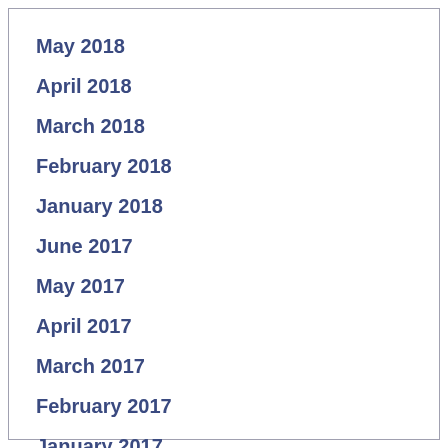May 2018
April 2018
March 2018
February 2018
January 2018
June 2017
May 2017
April 2017
March 2017
February 2017
January 2017
December 2016
November 2016